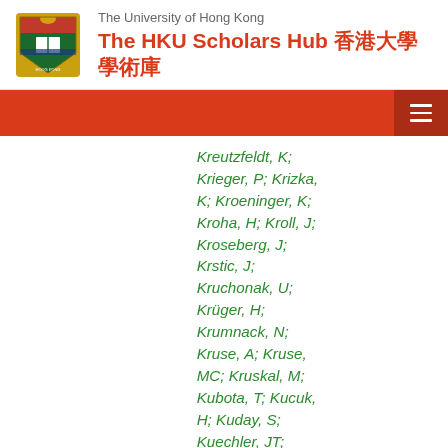The University of Hong Kong — The HKU Scholars Hub 香港大學學術庫
Kreutzfeldt, K; Krieger, P; Krizka, K; Kroeninger, K; Kroha, H; Kroll, J; Kroseberg, J; Krstic, J; Kruchonak, U; Krüger, H; Krumnack, N; Kruse, A; Kruse, MC; Kruskal, M; Kubota, T; Kucuk, H; Kuday, S; Kuechler, JT; Kuehn, S; Kugel, A; Kuger, F; Kuhl, A; Kuhl, T; Kukhtia, IA; Kukhla...